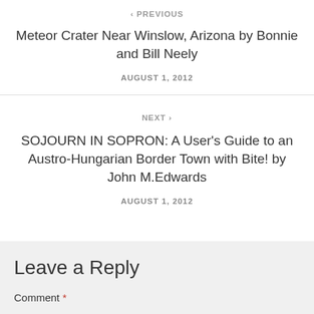‹ PREVIOUS
Meteor Crater Near Winslow, Arizona by Bonnie and Bill Neely
AUGUST 1, 2012
NEXT ›
SOJOURN IN SOPRON: A User's Guide to an Austro-Hungarian Border Town with Bite! by John M.Edwards
AUGUST 1, 2012
Leave a Reply
Comment *